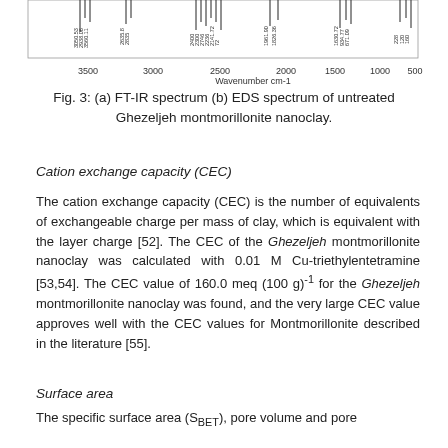[Figure (continuous-plot): Partial FT-IR spectrum chart showing wavenumber axis (cm-1) from 500 to 3500, with vertical lines at various wavenumbers including 3000-3005, 2636-2638, 3500-11, 2822-2685, 2400-2685, 2300-2746, 2236-2144, 2141-72, 1961-90, 1826-36, 1630-72, 934-77, 671-09, 228, 160]
Fig. 3: (a) FT-IR spectrum (b) EDS spectrum of untreated Ghezeljeh montmorillonite nanoclay.
Cation exchange capacity (CEC)
The cation exchange capacity (CEC) is the number of equivalents of exchangeable charge per mass of clay, which is equivalent with the layer charge [52]. The CEC of the Ghezeljeh montmorillonite nanoclay was calculated with 0.01 M Cu-triethylentetramine [53,54]. The CEC value of 160.0 meq (100 g)⁻¹ for the Ghezeljeh montmorillonite nanoclay was found, and the very large CEC value approves well with the CEC values for Montmorillonite described in the literature [55].
Surface area
The specific surface area (S_BET), pore volume and pore ...